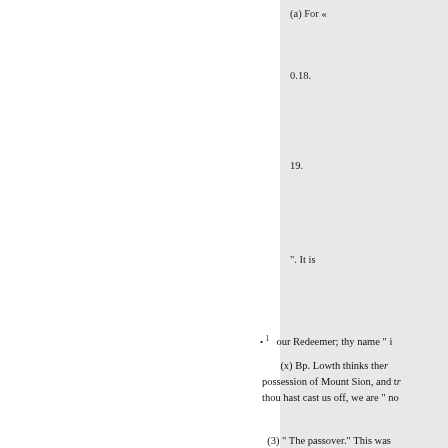(a) For «
0.18.
19.
". It is
• 1.    our Redeemer; thy name " i
(x) Bp. Lowth thinks ther possession of Mount Sion, and tr thou hast cast us off, we are " no
(3) " The passover." This was the Lord at the place which he sh earth, would be at Jerusalem at th that it was at the second of these languages they had never learned witnessed the crucifixion, would an account of both events to the commemorate the preservation o and the feast of unleavened brea